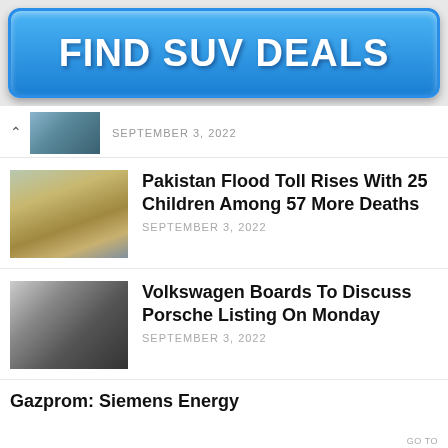[Figure (infographic): Blue button-style banner ad reading FIND SUV DEALS in bold white text]
SEPTEMBER 3, 2022
Pakistan Flood Toll Rises With 25 Children Among 57 More Deaths
SEPTEMBER 3, 2022
Volkswagen Boards To Discuss Porsche Listing On Monday
SEPTEMBER 3, 2022
Gazprom: Siemens Energy